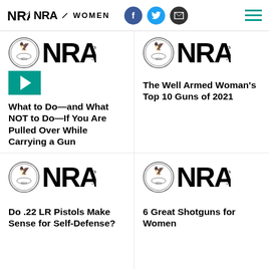NRA WOMEN
[Figure (logo): NRA logo with eagle seal and play button - article thumbnail for 'What to Do—and What NOT to Do—If You Are Pulled Over While Carrying a Gun']
What to Do—and What NOT to Do—If You Are Pulled Over While Carrying a Gun
[Figure (logo): NRA logo with eagle seal - article thumbnail for 'The Well Armed Woman's Top 10 Guns of 2021']
The Well Armed Woman's Top 10 Guns of 2021
[Figure (logo): NRA logo with eagle seal - article thumbnail for 'Do .22 LR Pistols Make Sense for Self-Defense?']
Do .22 LR Pistols Make Sense for Self-Defense?
[Figure (logo): NRA logo with eagle seal - article thumbnail for '6 Great Shotguns for Women']
6 Great Shotguns for Women